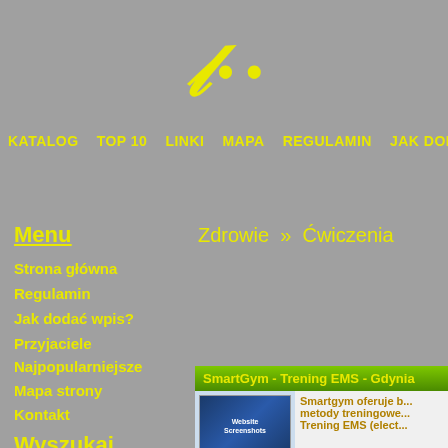[Figure (logo): Yellow italic cursive letter logo on grey background]
KATALOG   TOP 10   LINKI   MAPA   REGULAMIN   JAK DODA...
Menu
Zdrowie » Ćwiczenia
Strona główna
Regulamin
Jak dodać wpis?
Przyjaciele
Najpopularniejsze
Mapa strony
Kontakt
Wyszukaj
SmartGym - Trening EMS - Gdynia
Smartgym oferuje b... metody treningowe... Trening EMS (elect...